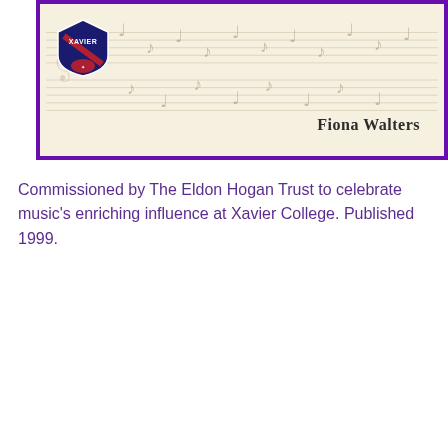[Figure (illustration): Book cover for a music history publication with music staff notation background, Xavier College shield logo on left, and author name 'Fiona Walters' on right, purple border]
Commissioned by The Eldon Hogan Trust to celebrate music's enriching influence at Xavier College. Published 1999.
[Figure (photo): Book cover for 'KOSTKA: Xavier by the sea' showing a sepia/black-and-white historical photograph of Xavier College grounds with large trees, a red stripe, and large white text 'KOSTKA' with italic subtitle 'Xavier by the sea' on black background]